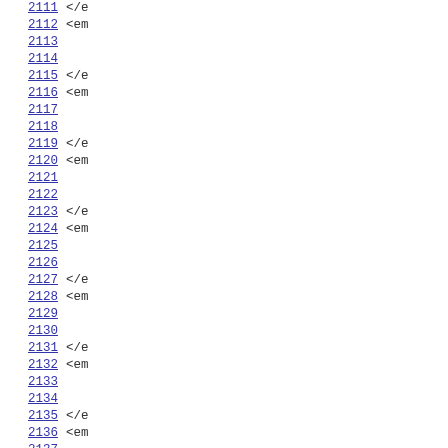Code listing with line numbers 2111-2137, showing XML/HTML closing tags (</e...) and opening tags (<em...) on alternating lines with blank lines between.